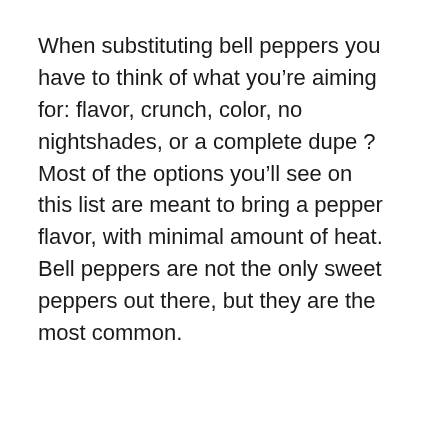When substituting bell peppers you have to think of what you're aiming for: flavor, crunch, color, no nightshades, or a complete dupe ? Most of the options you'll see on this list are meant to bring a pepper flavor, with minimal amount of heat. Bell peppers are not the only sweet peppers out there, but they are the most common.
ADVERTISEMENT